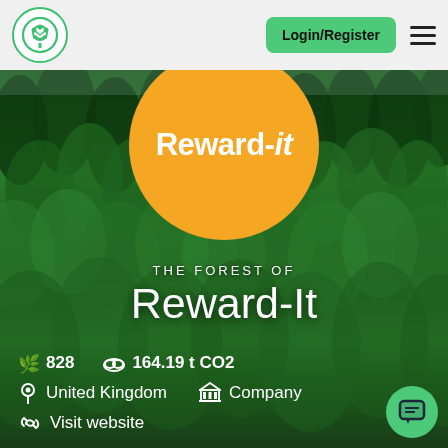[Figure (logo): Circular green tree logo icon in header]
Login/Register
[Figure (screenshot): Forest aerial photo background with orange circle Reward-it logo, text overlay 'THE FOREST OF Reward-It', stats showing 828 trees and 164.19 t CO2, location United Kingdom, type Company, Visit website link]
THE FOREST OF Reward-It
828  164.19 t CO2
United Kingdom  Company
Visit website